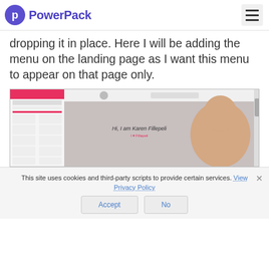PowerPack
dropping it in place. Here I will be adding the menu on the landing page as I want this menu to appear on that page only.
[Figure (screenshot): Screenshot of a webpage builder interface showing a sidebar with page elements and a preview of a landing page with a woman saying 'Hi, I am Karen Fillepeli']
This site uses cookies and third-party scripts to provide certain services. View Privacy Policy
Accept   No